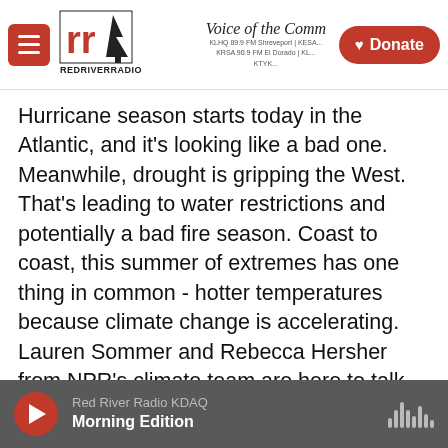[Figure (logo): Red River Radio logo with stylized RR letters and tree silhouette, text REDRIVERRADIO]
Voice of the Comm... KLHQ 89.9 FM Shreveport | KESA... KRSA 90.9 FM El Dorado | KL... KTYK...
Hurricane season starts today in the Atlantic, and it's looking like a bad one. Meanwhile, drought is gripping the West. That's leading to water restrictions and potentially a bad fire season. Coast to coast, this summer of extremes has one thing in common - hotter temperatures because climate change is accelerating. Lauren Sommer and Rebecca Hersher from NPR's climate team are here to talk about how the summer is shaping up.
Hey, you two.
REBECCA HERSHER, BYLINE: Hey there.
Red River Radio KDAQ  Morning Edition